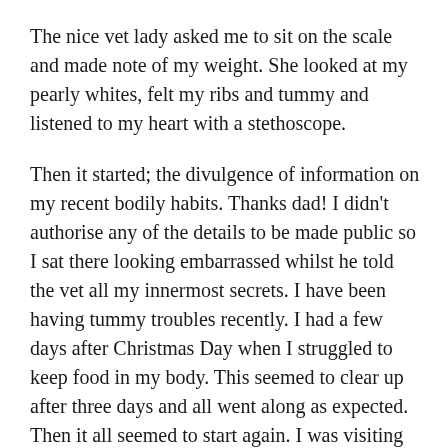The nice vet lady asked me to sit on the scale and made note of my weight. She looked at my pearly whites, felt my ribs and tummy and listened to my heart with a stethoscope.
Then it started; the divulgence of information on my recent bodily habits. Thanks dad! I didn't authorise any of the details to be made public so I sat there looking embarrassed whilst he told the vet all my innermost secrets. I have been having tummy troubles recently. I had a few days after Christmas Day when I struggled to keep food in my body. This seemed to clear up after three days and all went along as expected. Then it all seemed to start again. I was visiting my garden about four times a night for a few days and then making numerous visits another 4-5 times a day. As a result I was starved for 24 hours to make sure it wasn't a parasite or other